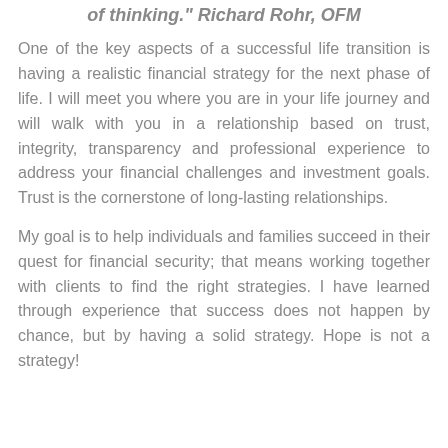of thinking." Richard Rohr, OFM
One of the key aspects of a successful life transition is having a realistic financial strategy for the next phase of life. I will meet you where you are in your life journey and will walk with you in a relationship based on trust, integrity, transparency and professional experience to address your financial challenges and investment goals. Trust is the cornerstone of long-lasting relationships.
My goal is to help individuals and families succeed in their quest for financial security; that means working together with clients to find the right strategies. I have learned through experience that success does not happen by chance, but by having a solid strategy. Hope is not a strategy!